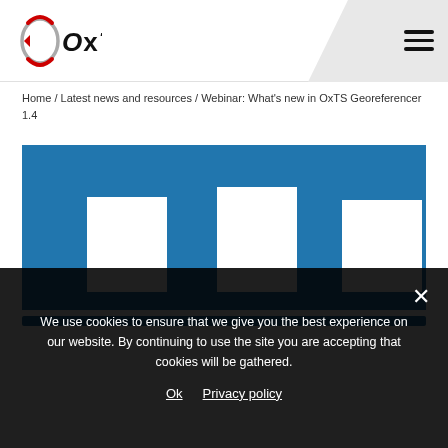[Figure (logo): OxTS logo with circular swoosh graphic in red and grey, followed by bold text 'OxTS']
Home / Latest news and resources / Webinar: What's new in OxTS Georeferencer 1.4
[Figure (screenshot): Blue rectangular area with white rectangular shapes resembling teeth or columns at the bottom — partial screenshot of webinar thumbnail]
We use cookies to ensure that we give you the best experience on our website. By continuing to use the site you are accepting that cookies will be gathered.
Ok   Privacy policy